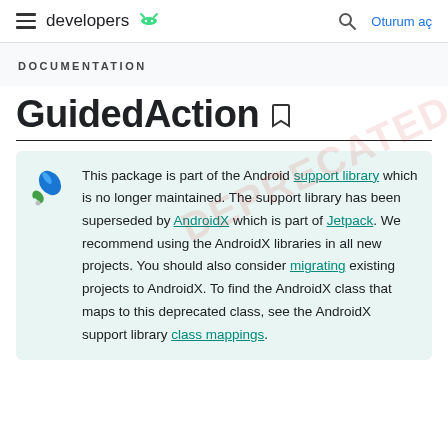developers | Oturum aç
DOCUMENTATION
GuidedAction
This package is part of the Android support library which is no longer maintained. The support library has been superseded by AndroidX which is part of Jetpack. We recommend using the AndroidX libraries in all new projects. You should also consider migrating existing projects to AndroidX. To find the AndroidX class that maps to this deprecated class, see the AndroidX support library class mappings.